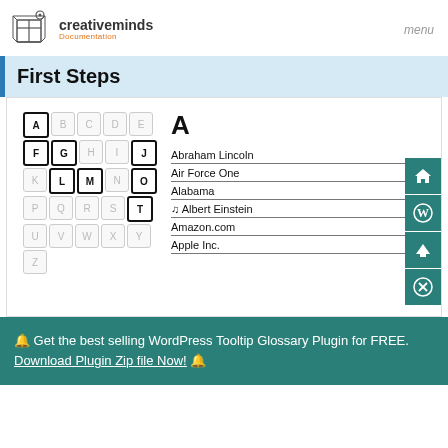creativeminds Documentation | menu
First Steps
[Figure (screenshot): WordPress Tooltip Glossary plugin interface showing an alphabet letter grid with A, F, G, J, L, M, O, T active/selected, and a glossary list panel showing entries: A, Abraham Lincoln, Air Force One, Alabama, Albert Einstein, Amazon.com, Apple Inc.]
🔔 Get the best selling WordPress Tooltip Glossary Plugin for FREE. Download Plugin Zip file Now! 🔔